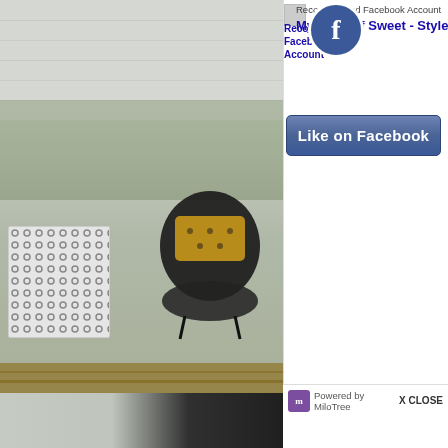[Figure (screenshot): Outdoor patio scene with white lattice stool, dark round chair with yellow cushion, on wooden deck against grey wall]
[Figure (screenshot): Person wearing all-black outfit carrying a bag, walking near a metal railing, blurred outdoor background]
[Figure (screenshot): Facebook popup overlay showing 'Recommended Facebook Account' with Facebook circle logo, page name 'My Kind Of Sweet - Style + S...', 'Like on Facebook' button, and 'Powered by MiloTree' footer with X CLOSE button]